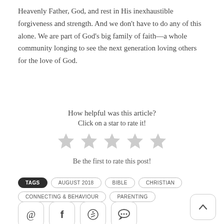Heavenly Father, God, and rest in His inexhaustible forgiveness and strength. And we don't have to do any of this alone. We are part of God's big family of faith—a whole community longing to see the next generation loving others for the love of God.
How helpful was this article?
Click on a star to rate it!
[Figure (other): Five empty/unfilled star rating icons in a row]
Be the first to rate this post!
TAGS: AUGUST 2018, BIBLE, CHRISTIAN, CONNECTING & BEHAVIOUR, PARENTING
[Figure (other): Social share buttons: email (@), Facebook (f), Pinterest (P), comment/chat icon]